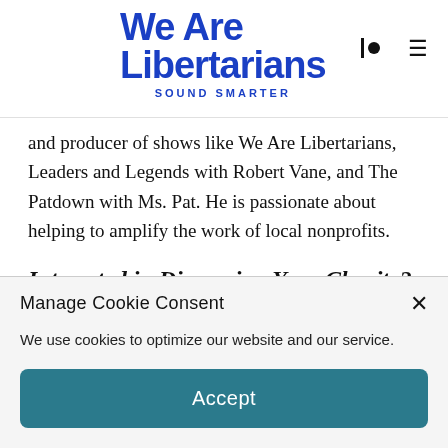We Are Libertarians — SOUND SMARTER
and producer of shows like We Are Libertarians, Leaders and Legends with Robert Vane, and The Patdown with Ms. Pat. He is passionate about helping to amplify the work of local nonprofits.
Interested in Discussing Your Charity?
Manage Cookie Consent
We use cookies to optimize our website and our service.
Accept